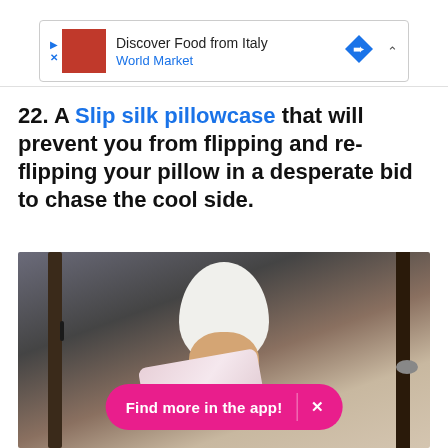[Figure (screenshot): Advertisement banner: 'Discover Food from Italy — World Market' with red logo square, blue arrow icon, and chevron.]
22. A Slip silk pillowcase that will prevent you from flipping and re-flipping your pillow in a desperate bid to chase the cool side.
[Figure (photo): Photo of a person with a white towel wrapped around their head, holding a floral silk pillowcase, standing in front of a door. An overlay app download button reads 'Find more in the app! X'.]